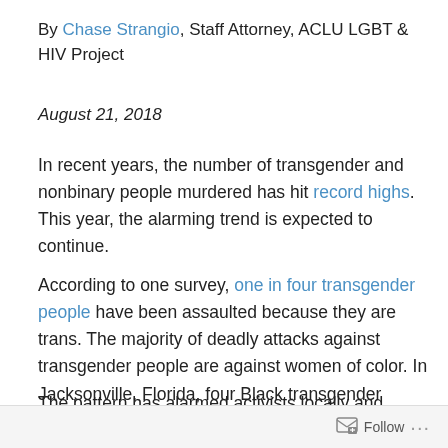By Chase Strangio, Staff Attorney, ACLU LGBT & HIV Project
August 21, 2018
In recent years, the number of transgender and nonbinary people murdered has hit record highs. This year, the alarming trend is expected to continue.
According to one survey, one in four transgender people have been assaulted because they are trans. The majority of deadly attacks against transgender people are against women of color. In Jacksonville, Florida, four Black transgender women have been shot in the last six months alone. Three of them were killed.
The pattern has alarmed activists locally and nationally. Civil rights groups have asked the Department of Justice
Follow